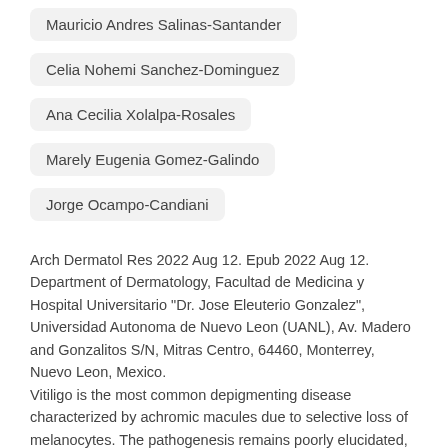Mauricio Andres Salinas-Santander
Celia Nohemi Sanchez-Dominguez
Ana Cecilia Xolalpa-Rosales
Marely Eugenia Gomez-Galindo
Jorge Ocampo-Candiani
Arch Dermatol Res 2022 Aug 12. Epub 2022 Aug 12. Department of Dermatology, Facultad de Medicina y Hospital Universitario "Dr. Jose Eleuterio Gonzalez", Universidad Autonoma de Nuevo Leon (UANL), Av. Madero and Gonzalitos S/N, Mitras Centro, 64460, Monterrey, Nuevo Leon, Mexico. Vitiligo is the most common depigmenting disease characterized by achromic macules due to selective loss of melanocytes. The pathogenesis remains poorly elucidated, and multiple hypotheses exist regarding its pathogenesis. Evidence suggests that stress on